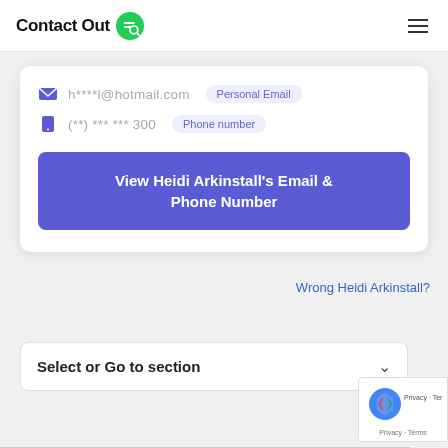ContactOut
h****l@hotmail.com  Personal Email
(**) *** *** 300  Phone number
View Heidi Arkinstall's Email & Phone Number
Wrong Heidi Arkinstall?
Select or Go to section